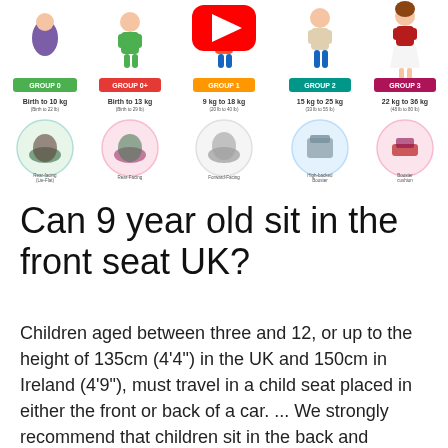[Figure (infographic): Child car seat groups infographic showing 5 groups (Group 0, Group 0+, Group 1, Group 2, Group 3) with child figures, colored label badges, weight ranges, and circular seat type icons. A YouTube play button overlay appears on Group 1.]
Can 9 year old sit in the front seat UK?
Children aged between three and 12, or up to the height of 135cm (4‘4″) in the UK and 150cm in Ireland (4‘9″), must travel in a child seat placed in either the front or back of a car. ... We strongly recommend that children sit in the back and remain rear-facing for as long as possible to minimise the risk of injury.